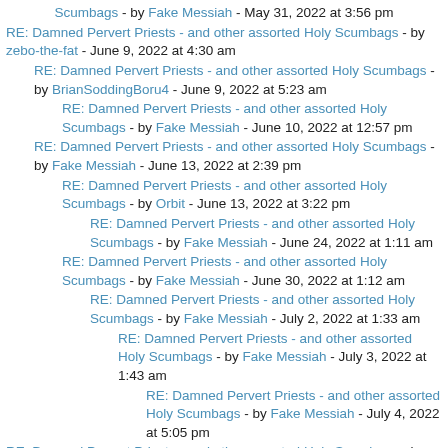Scumbags - by Fake Messiah - May 31, 2022 at 3:56 pm
RE: Damned Pervert Priests - and other assorted Holy Scumbags - by zebo-the-fat - June 9, 2022 at 4:30 am
RE: Damned Pervert Priests - and other assorted Holy Scumbags - by BrianSoddingBoru4 - June 9, 2022 at 5:23 am
RE: Damned Pervert Priests - and other assorted Holy Scumbags - by Fake Messiah - June 10, 2022 at 12:57 pm
RE: Damned Pervert Priests - and other assorted Holy Scumbags - by Fake Messiah - June 13, 2022 at 2:39 pm
RE: Damned Pervert Priests - and other assorted Holy Scumbags - by Orbit - June 13, 2022 at 3:22 pm
RE: Damned Pervert Priests - and other assorted Holy Scumbags - by Fake Messiah - June 24, 2022 at 1:11 am
RE: Damned Pervert Priests - and other assorted Holy Scumbags - by Fake Messiah - June 30, 2022 at 1:12 am
RE: Damned Pervert Priests - and other assorted Holy Scumbags - by Fake Messiah - July 2, 2022 at 1:33 am
RE: Damned Pervert Priests - and other assorted Holy Scumbags - by Fake Messiah - July 3, 2022 at 1:43 am
RE: Damned Pervert Priests - and other assorted Holy Scumbags - by Fake Messiah - July 4, 2022 at 5:05 pm
RE: Damned Pervert Priests - and other assorted Holy Scumbags - by BrianSoddingBoru4 - July 4, 2022 at 5:33 pm